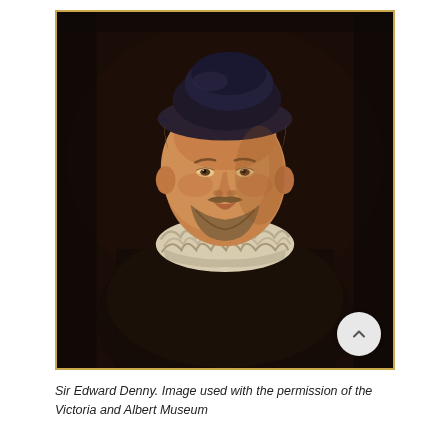[Figure (photo): Portrait painting of Sir Edward Denny, a man wearing a dark coat and a white ruffled collar, with a dark hat, set against a very dark brown background. Oil painting style, likely 16th or 17th century.]
Sir Edward Denny. Image used with the permission of the Victoria and Albert Museum